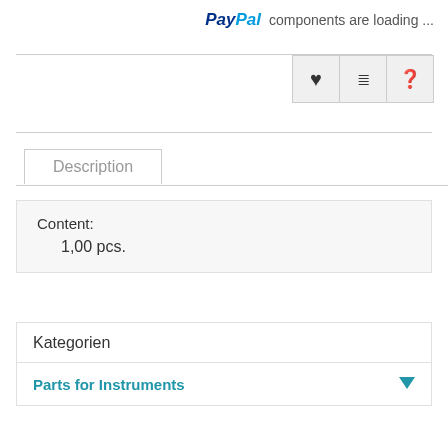[Figure (logo): PayPal logo with text 'components are loading ...']
[Figure (infographic): Three icon buttons: heart (favorite), list/menu, and question mark (help)]
Description
Content:
1,00 pcs.
Kategorien
Parts for Instruments